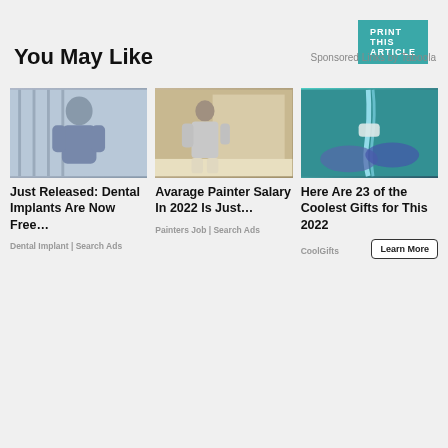PRINT THIS ARTICLE
You May Like
Sponsored Links by Taboola
[Figure (photo): Woman in gray scrubs smiling outdoors near trees and a fence]
Just Released: Dental Implants Are Now Free…
Dental Implant | Search Ads
[Figure (photo): Man painting a wall, viewed from behind, wearing gray clothes]
Avarage Painter Salary In 2022 Is Just…
Painters Job | Search Ads
[Figure (photo): Hands under running water with a ring or device, teal-toned]
Here Are 23 of the Coolest Gifts for This 2022
CoolGifts
Learn More